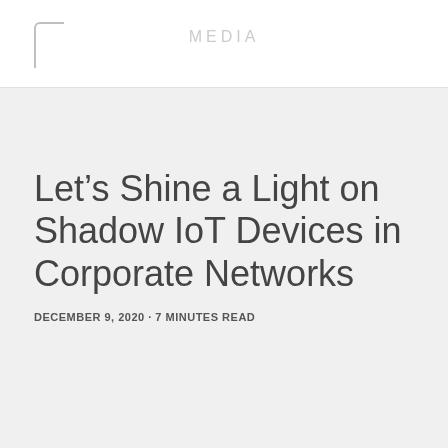MEDIA
Let’s Shine a Light on Shadow IoT Devices in Corporate Networks
DECEMBER 9, 2020 · 7 MINUTES READ